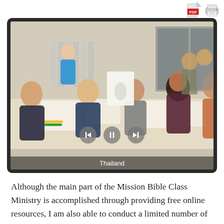[Figure (photo): Group of people sitting around a table at a training workshop in Thailand, smiling and holding up drawings. A person in a blue shirt stands in the background near stacked chairs. The photo has playback navigation controls (back, pause, forward) overlaid, and a 'Thailand' caption at the bottom.]
Although the main part of the Mission Bible Class Ministry is accomplished through providing free online resources, I am also able to conduct a limited number of training workshops